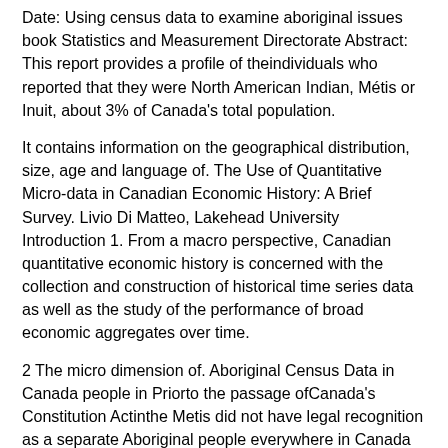Date: Using census data to examine aboriginal issues book Statistics and Measurement Directorate Abstract: This report provides a profile of theindividuals who reported that they were North American Indian, Métis or Inuit, about 3% of Canada's total population.
It contains information on the geographical distribution, size, age and language of. The Use of Quantitative Micro-data in Canadian Economic History: A Brief Survey. Livio Di Matteo, Lakehead University Introduction 1. From a macro perspective, Canadian quantitative economic history is concerned with the collection and construction of historical time series data as well as the study of the performance of broad economic aggregates over time.
2 The micro dimension of. Aboriginal Census Data in Canada people in Priorto the passage ofCanada's Constitution Actinthe Metis did not have legal recognition as a separate Aboriginal people everywhere in Canada except Alberta (Peterson and Brown, ).
The regional distribution ofthe Aboriginal population in Canada is very Size: KB. In the first years after Aboriginal population numbers fell drastically, from the original population of approximately(Jones,) to 61